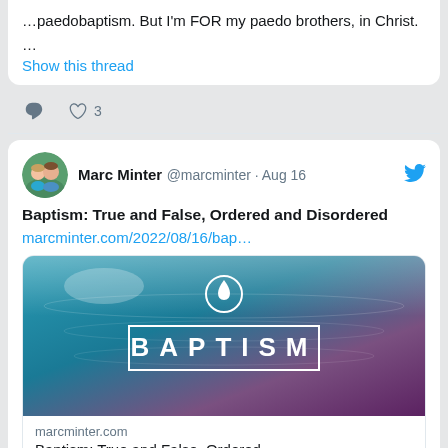…paedobaptism. But I'm FOR my paedo brothers, in Christ.
…
Show this thread
3 (likes)
Marc Minter @marcminter · Aug 16
Baptism: True and False, Ordered and Disordered
marcminter.com/2022/08/16/bap…
[Figure (photo): Water/ocean background image with the word BAPTISM in white letters inside a rectangle, and a water droplet icon in a circle above it]
marcminter.com
Baptism: True and False, Ordered